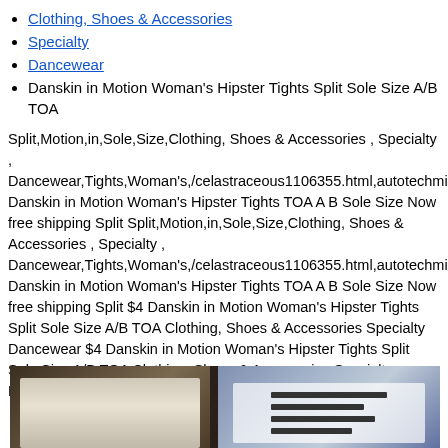Clothing, Shoes & Accessories
Specialty
Dancewear
Danskin in Motion Woman's Hipster Tights Split Sole Size A/B TOA
Split,Motion,in,Sole,Size,Clothing, Shoes & Accessories , Specialty , Dancewear,Tights,Woman's,/celastraceous1106355.html,autotechmia Danskin in Motion Woman's Hipster Tights TOA A B Sole Size Now free shipping Split Split,Motion,in,Sole,Size,Clothing, Shoes & Accessories , Specialty , Dancewear,Tights,Woman's,/celastraceous1106355.html,autotechmia Danskin in Motion Woman's Hipster Tights TOA A B Sole Size Now free shipping Split $4 Danskin in Motion Woman's Hipster Tights Split Sole Size A/B TOA Clothing, Shoes & Accessories Specialty Dancewear $4 Danskin in Motion Woman's Hipster Tights Split Sole Size A/B TOA Clothing, Shoes & Accessories Specialty Dancewear
[Figure (photo): Photo of product packaging, showing two views of Danskin tights packaging on a dark background]